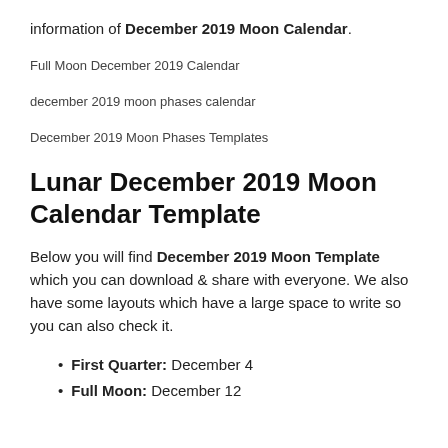information of December 2019 Moon Calendar.
Full Moon December 2019 Calendar
december 2019 moon phases calendar
December 2019 Moon Phases Templates
Lunar December 2019 Moon Calendar Template
Below you will find December 2019 Moon Template which you can download & share with everyone. We also have some layouts which have a large space to write so you can also check it.
First Quarter: December 4
Full Moon: December 12